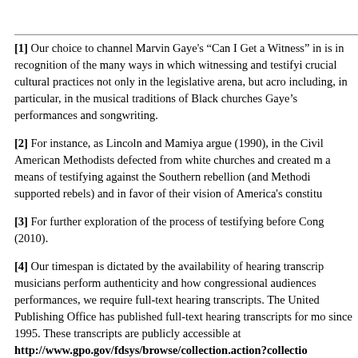[1] Our choice to channel Marvin Gaye's “Can I Get a Witness” in is in recognition of the many ways in which witnessing and testifying crucial cultural practices not only in the legislative arena, but acro including, in particular, in the musical traditions of Black churches Gaye’s performances and songwriting.
[2] For instance, as Lincoln and Mamiya argue (1990), in the Civil American Methodists defected from white churches and created m a means of testifying against the Southern rebellion (and Methodi supported rebels) and in favor of their vision of America’s constitu
[3] For further exploration of the process of testifying before Cong (2010).
[4] Our timespan is dictated by the availability of hearing transcrip musicians perform authenticity and how congressional audiences performances, we require full-text hearing transcripts. The United Publishing Office has published full-text hearing transcripts for mo since 1995. These transcripts are publicly accessible at http://www.gpo.gov/fdsys/browse/collection.action?collectio